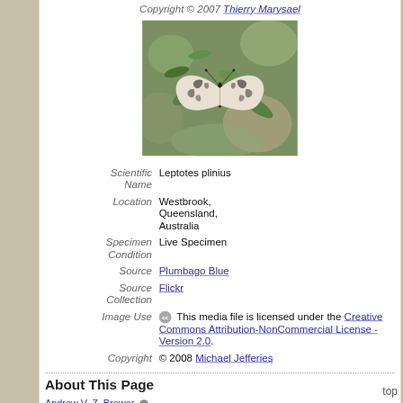Copyright © 2007 Thierry Marysael
[Figure (photo): Photograph of a Leptotes plinius butterfly (Plumbago Blue) perched on green foliage, showing patterned wings from above.]
| Scientific Name | Leptotes plinius |
| Location | Westbrook, Queensland, Australia |
| Specimen Condition | Live Specimen |
| Source | Plumbago Blue |
| Source Collection | Flickr |
| Image Use | [CC icon] This media file is licensed under the Creative Commons Attribution-NonCommercial License - Version 2.0. |
| Copyright | © 2008 Michael Jefferies |
About This Page
Andrew V. Z. Brower